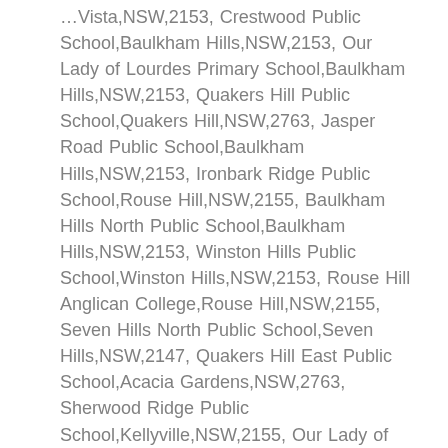...Vista,NSW,2153, Crestwood Public School,Baulkham Hills,NSW,2153, Our Lady of Lourdes Primary School,Baulkham Hills,NSW,2153, Quakers Hill Public School,Quakers Hill,NSW,2763, Jasper Road Public School,Baulkham Hills,NSW,2153, Ironbark Ridge Public School,Rouse Hill,NSW,2155, Baulkham Hills North Public School,Baulkham Hills,NSW,2153, Winston Hills Public School,Winston Hills,NSW,2153, Rouse Hill Anglican College,Rouse Hill,NSW,2155, Seven Hills North Public School,Seven Hills,NSW,2147, Quakers Hill East Public School,Acacia Gardens,NSW,2763, Sherwood Ridge Public School,Kellyville,NSW,2155, Our Lady of the Rosary Primary School,Kellyville,NSW,2155, Kellyville Ridge Public School,Kellyville Ridge,NSW,2155, Kings Langley Public School,Kings Langley,NSW,2147, Australian International Academy, Kellyville Campus, Beaumont Hills Public School,Beaumont Hills,NSW,2155, St Michael's School,Baulkham Hills,NSW,2153, St Paul the Apostle Primary School,Winston Hills,NSW,2153, Our Lady of the Angels Primary School,Kellyville NSW,2155, Hills Adventist...